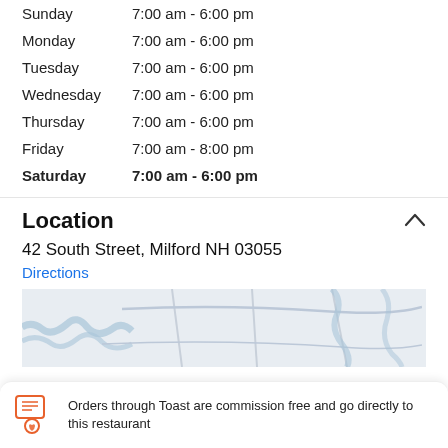Sunday    7:00 am - 6:00 pm
Monday    7:00 am - 6:00 pm
Tuesday    7:00 am - 6:00 pm
Wednesday  7:00 am - 6:00 pm
Thursday   7:00 am - 6:00 pm
Friday     7:00 am - 8:00 pm
Saturday   7:00 am - 6:00 pm
Location
42 South Street, Milford NH 03055
Directions
[Figure (map): Street map showing Milford NH area near 42 South Street]
Orders through Toast are commission free and go directly to this restaurant